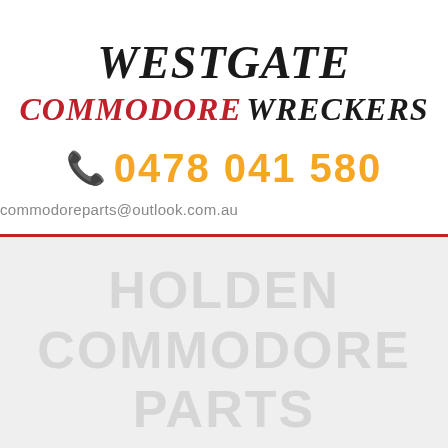WESTGATE COMMODORE WRECKERS
0478 041 580
commodoreparts@outlook.com.au
[Figure (other): Watermark text reading HOLDEN COMMODORE PARTS on a light grey background]
HOLDEN COMMODORE PARTS